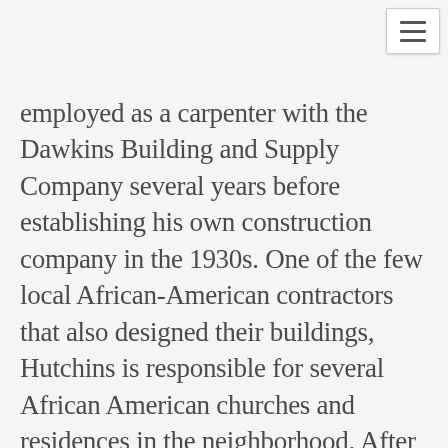[Figure (other): Hamburger menu button icon in top right corner]
employed as a carpenter with the Dawkins Building and Supply Company several years before establishing his own construction company in the 1930s. One of the few local African-American contractors that also designed their buildings, Hutchins is responsible for several African American churches and residences in the neighborhood. After World War II, Hutchins worked with the Veterans Administration to train African-American carpenters, brick masons and architects. In addition, Hutchins was one of the owners of A.L. Lewis' Lincoln Golf and Country Club.